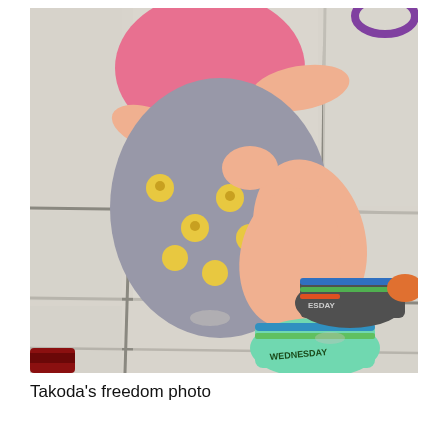[Figure (photo): A child wearing a pink shirt and emoji-patterned pants sits cross-legged on white tile floor. The child has colorful striped socks with 'WEDNESDAY' written on them. In the bottom left corner is a small red object. In the top right corner, a purple circular object is partially visible.]
Takoda's freedom photo